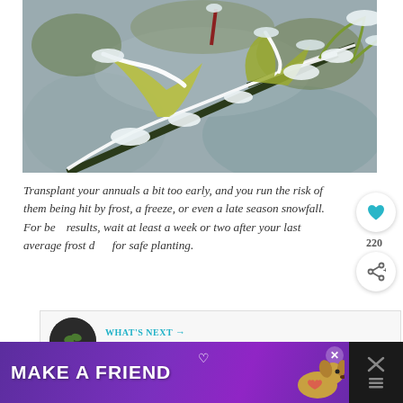[Figure (photo): Close-up photo of a plant branch with yellow-green leaves covered in white frost and snow against a blurred grey background.]
Transplant your annuals a bit too early, and you run the risk of them being hit by frost, a freeze, or even a late season snowfall. For best results, wait at least a week or two after your last average frost date for safe planting.
[Figure (infographic): What's Next widget with a circular thumbnail of a seedling and text 'WHAT'S NEXT → How To Start Vegetable...']
[Figure (infographic): Ad banner with purple gradient background showing text 'MAKE A FRIEND' with a dog photo and heart icons.]